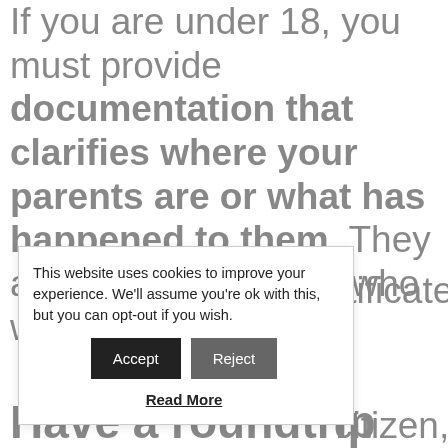If you are under 18, you must provide documentation that clarifies where your parents are or what has happened to them. They are usually the ones who would be in charge.
[Figure (screenshot): Cookie consent overlay with Accept and Reject buttons and a Read More link. Text: 'This website uses cookies to improve your experience. We'll assume you're ok with this, but you can opt-out if you wish.']
...rtificate ...: ...citizen,
Have a roundtrip